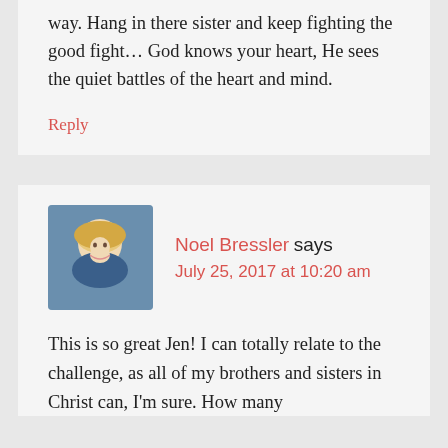way. Hang in there sister and keep fighting the good fight… God knows your heart, He sees the quiet battles of the heart and mind.
Reply
Noel Bressler says
July 25, 2017 at 10:20 am
This is so great Jen! I can totally relate to the challenge, as all of my brothers and sisters in Christ can, I'm sure. How many